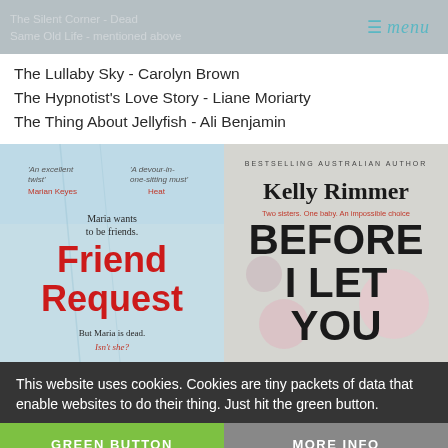The Silent Corner - Dead · MENU · The Same Old Life - mentioned above
The Lullaby Sky - Carolyn Brown
The Hypnotist's Love Story - Liane Moriarty
The Thing About Jellyfish - Ali Benjamin
[Figure (photo): Book cover for 'Friend Request' - text reads: 'An excellent twist' Marian Keyes, 'A devour-in-one-sitting must' Heat. Maria wants to be friends. Friend Request. But Maria is dead. Isn't she?]
[Figure (photo): Book cover for 'Before I Let You' by Kelly Rimmer - BESTSELLING AUSTRALIAN AUTHOR. Two sisters. One baby. An impossible choice. BEFORE I LET YOU]
This website uses cookies. Cookies are tiny packets of data that enable websites to do their thing. Just hit the green button.
GREEN BUTTON
MORE INFO